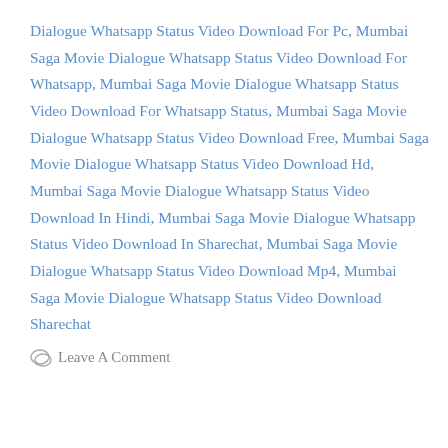Dialogue Whatsapp Status Video Download For Pc, Mumbai Saga Movie Dialogue Whatsapp Status Video Download For Whatsapp, Mumbai Saga Movie Dialogue Whatsapp Status Video Download For Whatsapp Status, Mumbai Saga Movie Dialogue Whatsapp Status Video Download Free, Mumbai Saga Movie Dialogue Whatsapp Status Video Download Hd, Mumbai Saga Movie Dialogue Whatsapp Status Video Download In Hindi, Mumbai Saga Movie Dialogue Whatsapp Status Video Download In Sharechat, Mumbai Saga Movie Dialogue Whatsapp Status Video Download Mp4, Mumbai Saga Movie Dialogue Whatsapp Status Video Download Sharechat
Leave A Comment